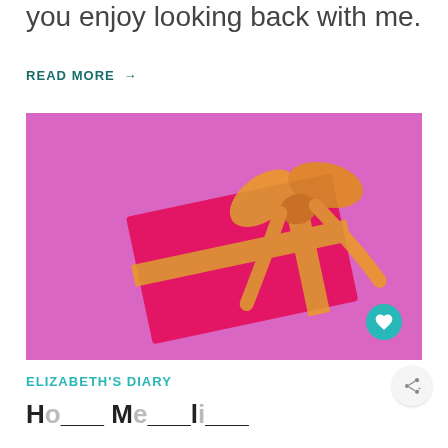you enjoy looking back with me.
READ MORE →
[Figure (photo): A bright pink gift box with an orange/gold ribbon and bow, placed on a pink background, photographed from above at a slight angle.]
ELIZABETH'S DIARY
Ho... M... l...